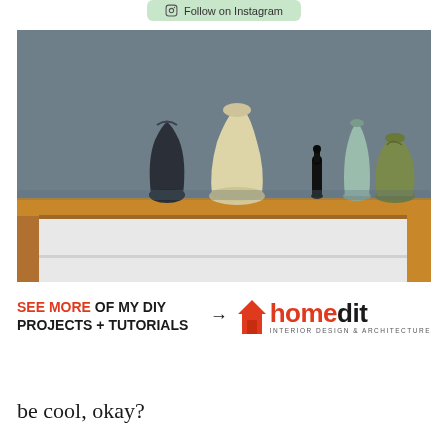[Figure (screenshot): Instagram follow button with green background]
[Figure (photo): A wooden sideboard/console table with white drawer fronts and various ceramic vases on top, against a grey wall. Vases include dark charcoal, cream, teal/mint, and olive green colors.]
[Figure (infographic): Homedit advertisement banner reading SEE MORE OF MY DIY PROJECTS + TUTORIALS with arrow pointing to homedit logo (interior design & architecture)]
be cool, okay?